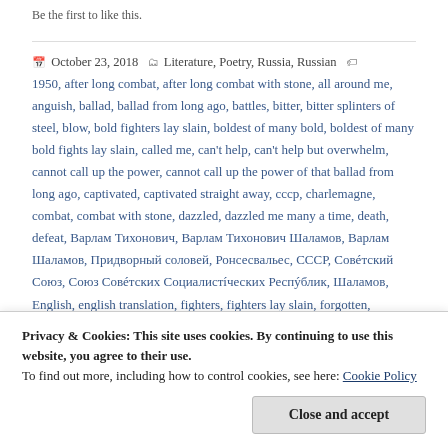Be the first to like this.
October 23, 2018  Literature, Poetry, Russia, Russian  1950, after long combat, after long combat with stone, all around me, anguish, ballad, ballad from long ago, battles, bitter, bitter splinters of steel, blow, bold fighters lay slain, boldest of many bold, boldest of many bold fights lay slain, called me, can't help, can't help but overwhelm, cannot call up the power, cannot call up the power of that ballad from long ago, captivated, captivated straight away, cccp, charlemagne, combat, combat with stone, dazzled, dazzled me many a time, death, defeat, Варлам Тихонович, Варлам Тихонович Шаламов, Варлам Шаламов, Придворный соловей, Ронсесвальес, СССР, Совéтский Союз, Союз Совéтских Социалистíческих Респýблик, Шаламов, English, english translation, fighters, fighters lay slain, forgotten,
Privacy & Cookies: This site uses cookies. By continuing to use this website, you agree to their use.
To find out more, including how to control cookies, see here: Cookie Policy
Close and accept